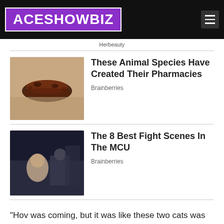ACESHOWBIZ
Herbeauty
These Animal Species Have Created Their Pharmacies
Brainberries
The 8 Best Fight Scenes In The MCU
Brainberries
"Hov was coming, but it was like these two cats was [sic] just so big, and so to have all of that come on you and have that responsibility to keep this s**t fly and keep the art of it going," Diddy added. "I think Hov kept the